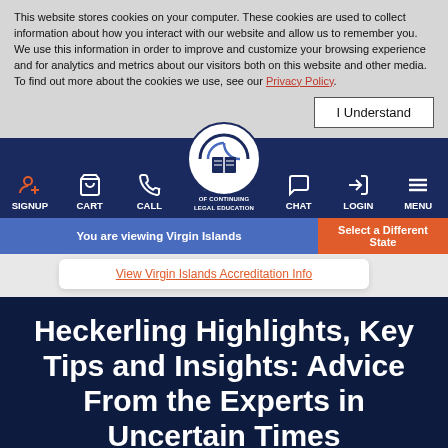This website stores cookies on your computer. These cookies are used to collect information about how you interact with our website and allow us to remember you. We use this information in order to improve and customize your browsing experience and for analytics and metrics about our visitors both on this website and other media. To find out more about the cookies we use, see our Privacy Policy.
[Figure (screenshot): Navigation bar with SIGNUP, CART, CALL, National Academy of Continuing Legal Education logo, CHAT, LOGIN, MENU items]
You are viewing Virgin Islands
Select a Different State
View Virgin Islands Accreditation Info
Heckerling Highlights, Key Tips and Insights: Advice From the Experts in Uncertain Times